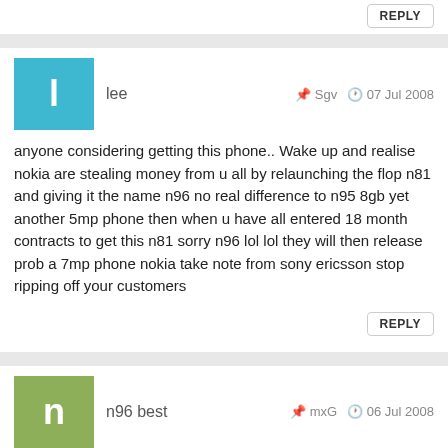REPLY
lee · Sgv · 07 Jul 2008
anyone considering getting this phone.. Wake up and realise nokia are stealing money from u all by relaunching the flop n81 and giving it the name n96 no real difference to n95 8gb yet another 5mp phone then when u have all entered 18 month contracts to get this n81 sorry n96 lol lol they will then release prob a 7mp phone nokia take note from sony ericsson stop ripping off your customers
REPLY
n96 best · mxG · 06 Jul 2008
n81 hve better battery life so y dnt diz fone hve it sme?
REPLY